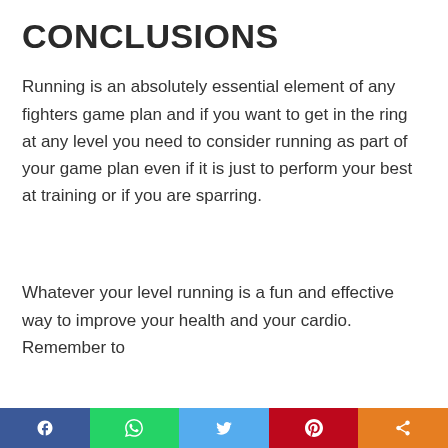CONCLUSIONS
Running is an absolutely essential element of any fighters game plan and if you want to get in the ring at any level you need to consider running as part of your game plan even if it is just to perform your best at training or if you are sparring.
Whatever your level running is a fun and effective way to improve your health and your cardio. Remember to
[Social share bar: Facebook, WhatsApp, Twitter, Pinterest, Share]